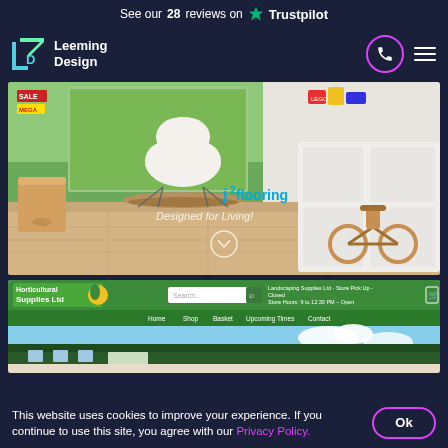See our 28 reviews on Trustpilot
[Figure (screenshot): Leeming Design agency website screenshot showing navigation bar with logo, phone button, and hamburger menu]
[Figure (screenshot): j2 Flooring website hero image showing modern room with wooden floor, rocking chair, toy bike, text 'j2flooring Designed for Living!']
[Figure (screenshot): Gardening/Landscaping Supplies Ltd website screenshot showing green header navigation and building exterior photo]
This website uses cookies to improve your experience. If you continue to use this site, you agree with our Privacy Policy.